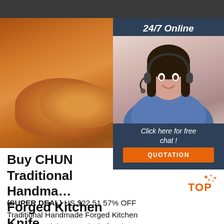[Figure (photo): Food photography strip showing roasted chicken on the left, seafood pizza in the middle, and baked casserole dishes on the right]
[Figure (photo): 24/7 Online customer service chat widget with female agent wearing headset, text 'Click here for free chat!' and orange QUOTATION button]
Buy CHUN Traditional Handmade Forged Kitchen Knife
(SUPER DEAL) US $22.51 57% OFF | Traditional Handmade Forged Kitchen Hammer Stainless Steel Chef's Chopper Cooking Knives Wooden H Meat Slicer Butcher From Merchant HZ New Living Store. Enjoy Free Shipping Worldwide! Limited Time Sale Easy Return. Shop Quality & Best Kitchen Knives